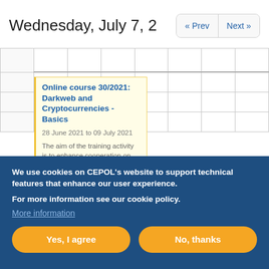Wednesday, July 7, 2...
Online course 30/2021: Darkweb and Cryptocurrencies - Basics
28 June 2021 to 09 July 2021
The aim of the training activity is to enhance cooperation on cross-
We use cookies on CEPOL's website to support technical features that enhance our user experience.
For more information see our cookie policy.
More information
Yes, I agree  No, thanks